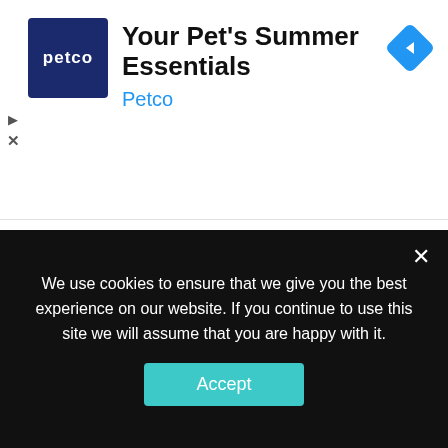[Figure (screenshot): Petco advertisement banner with logo, title 'Your Pet's Summer Essentials', brand name 'Petco', and a navigation arrow icon]
[Figure (screenshot): Social media sharing sidebar with up arrow, Facebook, Twitter, Pinterest, and Reddit icons]
[Figure (screenshot): Purple 'SUBMIT COMMENT' button]
[Figure (screenshot): Search bar with search icon button]
We use cookies to ensure that we give you the best experience on our website. If you continue to use this site we will assume that you are happy with it.
[Figure (screenshot): Accept button on cookie consent banner]